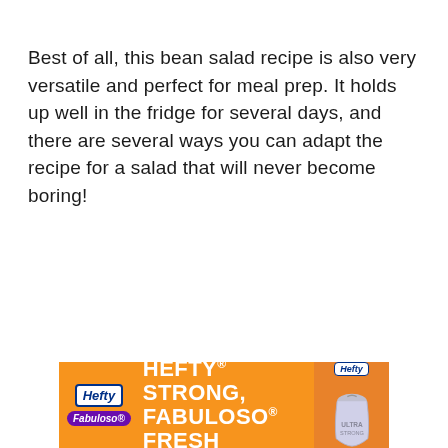Best of all, this bean salad recipe is also very versatile and perfect for meal prep. It holds up well in the fridge for several days, and there are several ways you can adapt the recipe for a salad that will never become boring!
[Figure (infographic): Advertisement banner for Hefty and Fabuloso products with orange background, showing 'HEFTY STRONG, FABULOSO FRESH' text in white bold letters, with Hefty and Fabuloso logos on the left and a Hefty trash bag product image on the right.]